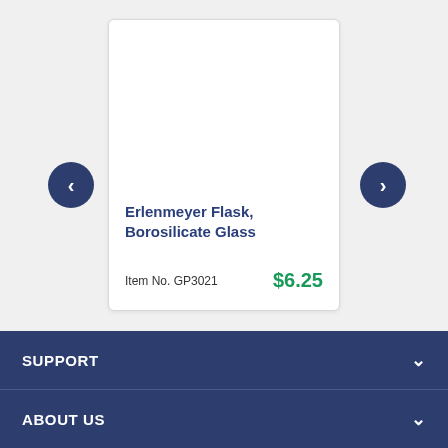[Figure (screenshot): Product card showing Erlenmeyer Flask, Borosilicate Glass with navigation arrows on left and right]
Erlenmeyer Flask, Borosilicate Glass
Item No. GP3021   $6.25
SUPPORT
ABOUT US